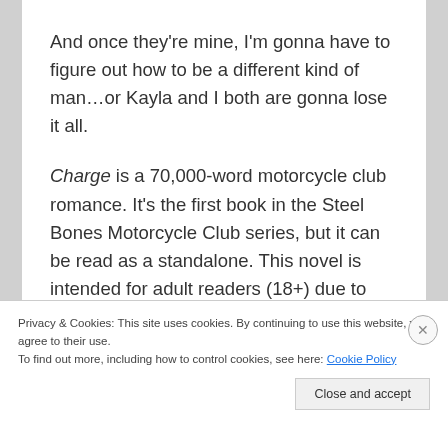And once they're mine, I'm gonna have to figure out how to be a different kind of man…or Kayla and I both are gonna lose it all.
Charge is a 70,000-word motorcycle club romance. It's the first book in the Steel Bones Motorcycle Club series, but it can be read as a standalone. This novel is intended for adult readers (18+) due to strong language, violence, possible triggers, and explicit intimate scenes.
Privacy & Cookies: This site uses cookies. By continuing to use this website, you agree to their use.
To find out more, including how to control cookies, see here: Cookie Policy
Close and accept